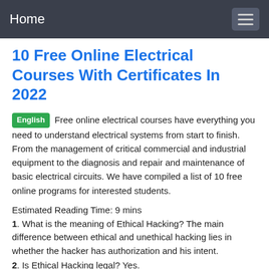Home
10 Free Online Electrical Courses With Certificates In 2022
English Free online electrical courses have everything you need to understand electrical systems from start to finish. From the management of critical commercial and industrial equipment to the diagnosis and repair and maintenance of basic electrical circuits. We have compiled a list of 10 free online programs for interested students.
Estimated Reading Time: 9 mins
1. What is the meaning of Ethical Hacking? The main difference between ethical and unethical hacking lies in whether the hacker has authorization and his intent.
2. Is Ethical Hacking legal? Yes.
3. What is the salary of an Ethical Hacker?